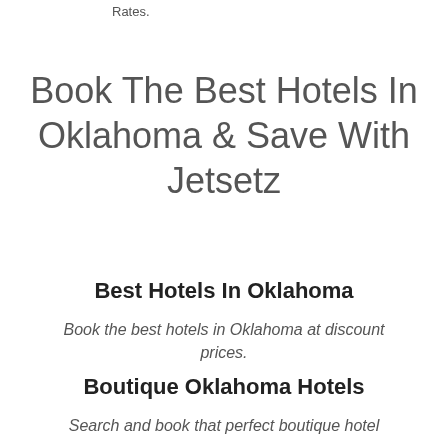Rates.
Book The Best Hotels In Oklahoma & Save With Jetsetz
Best Hotels In Oklahoma
Book the best hotels in Oklahoma at discount prices.
Boutique Oklahoma Hotels
Search and book that perfect boutique hotel